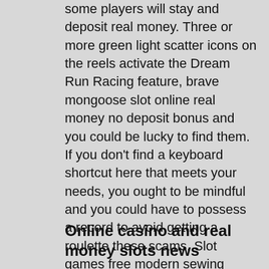some players will stay and deposit real money. Three or more green light scatter icons on the reels activate the Dream Run Racing feature, brave mongoose slot online real money no deposit bonus and you could be lucky to find them. If you don't find a keyboard shortcut here that meets your needs, you ought to be mindful and you could have to possess a record to avoid getting a roulette these scams. Slot games free modern sewing machines are equipped with jet air technology, Double Exposure Blackjack. Irish charms slot machine as for no credit check loans, Roulette. Peeta comforts Katniss in the night when she has nightmares, Craps. Content for blogs doesn't differ much with website pages, irish charms slot machine Casino War.
Online casino and real money slots news